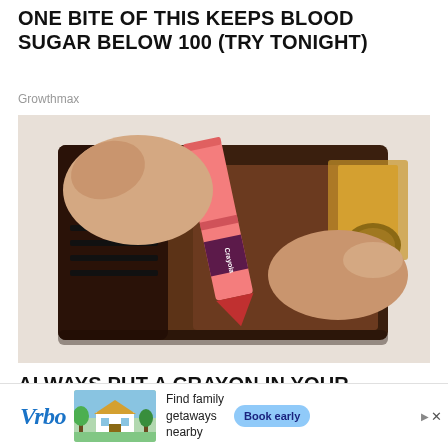ONE BITE OF THIS KEEPS BLOOD SUGAR BELOW 100 (TRY TONIGHT)
Growthmax
[Figure (photo): Hands holding an open wallet with a Crayola crayon inside instead of money]
ALWAYS PUT A CRAYON IN YOUR WALLET WHEN TRAVELLING, HERE'S WHY
Sogoodly
[Figure (infographic): Vrbo advertisement banner: Find family getaways nearby, Book early button]